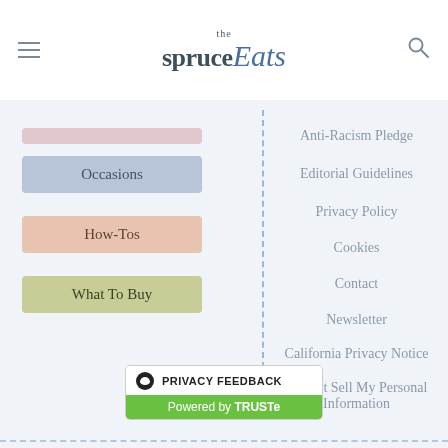the spruce Eats
(pink bar)
Occasions
How-Tos
What To Buy
Anti-Racism Pledge
Editorial Guidelines
Privacy Policy
Cookies
Contact
Newsletter
California Privacy Notice
Do Not Sell My Personal Information
[Figure (logo): Privacy Feedback badge powered by TRUSTe]